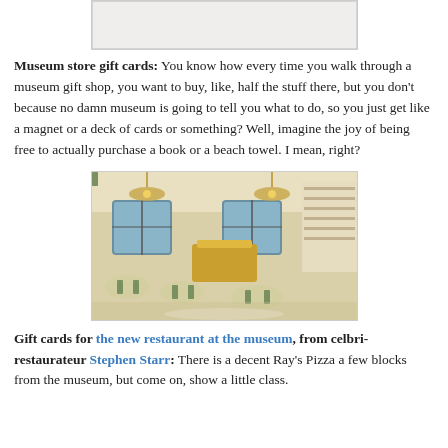[Figure (photo): Partial image of a white/grey rectangle at the top, possibly cropped image placeholder]
Museum store gift cards: You know how every time you walk through a museum gift shop, you want to buy, like, half the stuff there, but you don't because no damn museum is going to tell you what to do, so you just get like a magnet or a deck of cards or something? Well, imagine the joy of being free to actually purchase a book or a beach towel. I mean, right?
[Figure (photo): Interior photo of an elegant restaurant with chandeliers, large windows, white walls, green chairs, and a gold bar area]
Gift cards for the new restaurant at the museum, from celbri-restaurateur Stephen Starr: There is a decent Ray's Pizza a few blocks from the museum, but come on, show a little class.